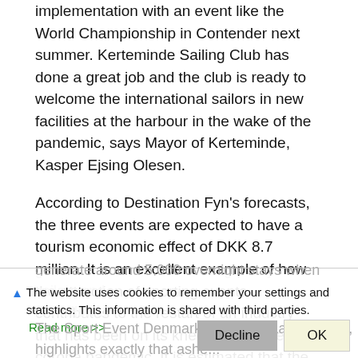implementation with an event like the World Championship in Contender next summer. Kerteminde Sailing Club has done a great job and the club is ready to welcome the international sailors in new facilities at the harbour in the wake of the pandemic, says Mayor of Kerteminde, Kasper Ejsing Olesen.
According to Destination Fyn's forecasts, the three events are expected to have a tourism economic effect of DKK 8.7 million. It is an excellent example of how the attraction of sporting events contributes to the restart of an industry that has been on its knees during the corona pandemic. It is estimated that the three events will
generate around 5,000 overnight stays when sailors and the...
The website uses cookies to remember your settings and statistics. This information is shared with third parties.
Read more >>
The Sport Event Denmark's director, Lars Lundov, highlights exactly that as he...